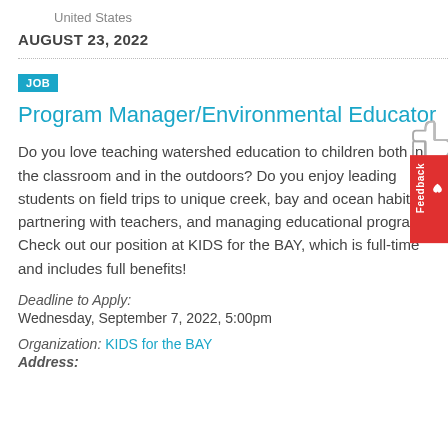United States
AUGUST 23, 2022
JOB
Program Manager/Environmental Educator
Do you love teaching watershed education to children both in the classroom and in the outdoors? Do you enjoy leading students on field trips to unique creek, bay and ocean habitats, partnering with teachers, and managing educational programs? Check out our position at KIDS for the BAY, which is full-time and includes full benefits!
Deadline to Apply: Wednesday, September 7, 2022, 5:00pm
Organization: KIDS for the BAY
Address: